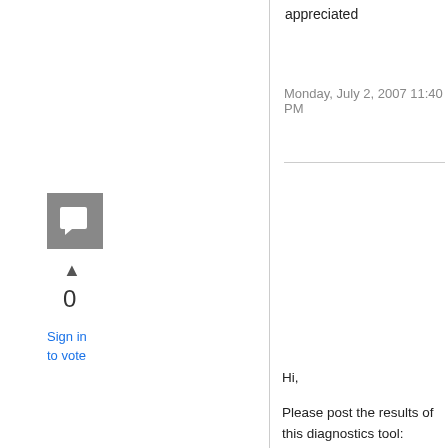appreciated
Monday, July 2, 2007 11:40 PM
[Figure (illustration): Grey square avatar icon with a speech bubble / reply symbol in white]
▲
0
Sign in to vote
Hi,
Please post the results of this diagnostics tool: http://go.microsoft.com/fwlink/?linkid=52012  That'll help me understand why you're unable to validate.  Also, can you tell me what error code you get when you try to